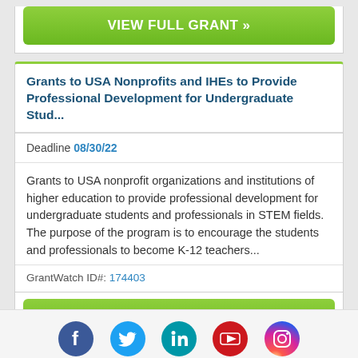VIEW FULL GRANT »
Grants to USA Nonprofits and IHEs to Provide Professional Development for Undergraduate Stud...
Deadline 08/30/22
Grants to USA nonprofit organizations and institutions of higher education to provide professional development for undergraduate students and professionals in STEM fields. The purpose of the program is to encourage the students and professionals to become K-12 teachers...
GrantWatch ID#: 174403
VIEW FULL GRANT »
[Figure (infographic): Social media icons row: Facebook (blue), Twitter (light blue), LinkedIn (teal), YouTube (red), Instagram (pink/purple gradient)]